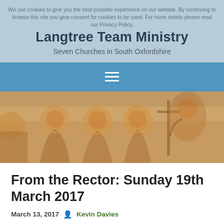We use cookies to give you the best possible experience on our website. By continuing to browse this site you give consent for cookies to be used. For more details please read our Privacy Policy.
Langtree Team Ministry
Seven Churches in South Oxfordshire
[Figure (screenshot): Blue navigation bar with hamburger menu icon (three white horizontal lines)]
[Figure (photo): Medieval church fresco/mural painting showing robed figures with halos against a warm golden-brown background]
From the Rector: Sunday 19th March 2017
March 13, 2017
Kevin Davies